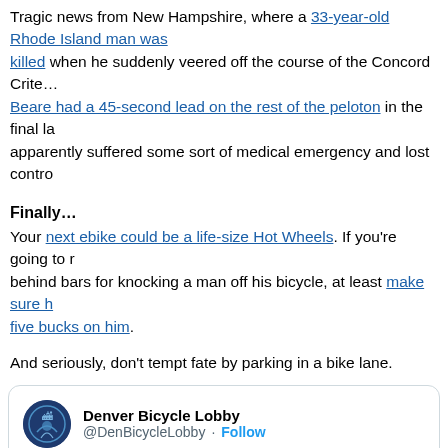Tragic news from New Hampshire, where a 33-year-old Rhode Island man was killed when he suddenly veered off the course of the Concord Criterium. Beare had a 45-second lead on the rest of the peloton in the final lap and apparently suffered some sort of medical emergency and lost control.
Finally…
Your next ebike could be a life-size Hot Wheels. If you're going to risk going behind bars for knocking a man off his bicycle, at least make sure he doesn't have five bucks on him.
And seriously, don't tempt fate by parking in a bike lane.
[Figure (screenshot): Embedded tweet from Denver Bicycle Lobby (@DenBicycleLobby) with a Follow button. Tweet text: 'Warning to all drivers… Your vehicle may spontaneously combust if you park in a bike lane. Don't say we didn't warn you. Just another reason to not park in a bike lane.']